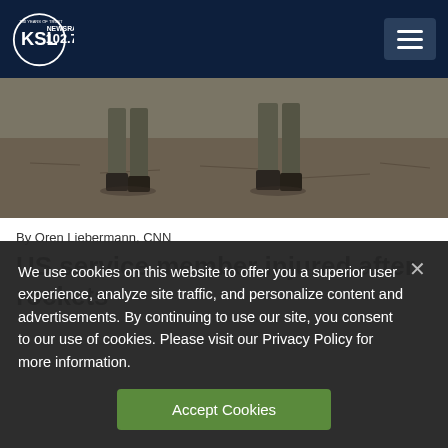KSL NewsRadio 102.7FM
[Figure (photo): Two soldiers walking in a field, lower half of their bodies visible, wearing military boots and camouflage pants on dry ground]
By Oren Liebermann, CNN
US service member injured after rockets
We use cookies on this website to offer you a superior user experience, analyze site traffic, and personalize content and advertisements. By continuing to use our site, you consent to our use of cookies. Please visit our Privacy Policy for more information.
Accept Cookies